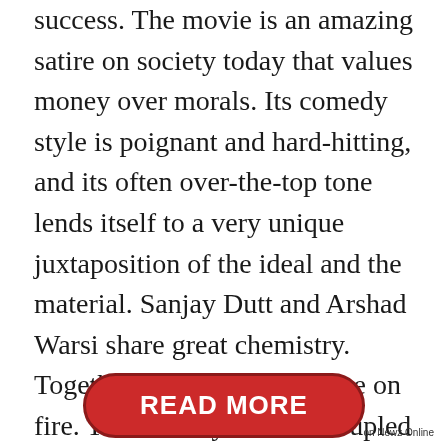success. The movie is an amazing satire on society today that values money over morals. Its comedy style is poignant and hard-hitting, and its often over-the-top tone lends itself to a very unique juxtaposition of the ideal and the material. Sanjay Dutt and Arshad Warsi share great chemistry. Together, they're like a house on fire. The comedy is often coupled with a slew of emotional scenes, which makes the payoff even more satisfying.
[Figure (other): A red pill-shaped button with white bold text reading 'READ MORE', with a dark red border outline]
on Newz Online